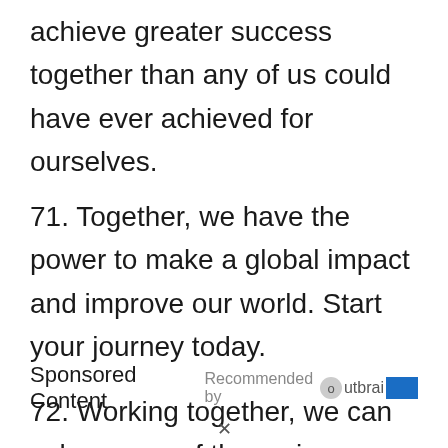achieve greater success together than any of us could have ever achieved for ourselves.
71. Together, we have the power to make a global impact and improve our world. Start your journey today.
72. Working together, we can solve many of the major problems that our world faces.
Sponsored Content    Recommended by Outbrain